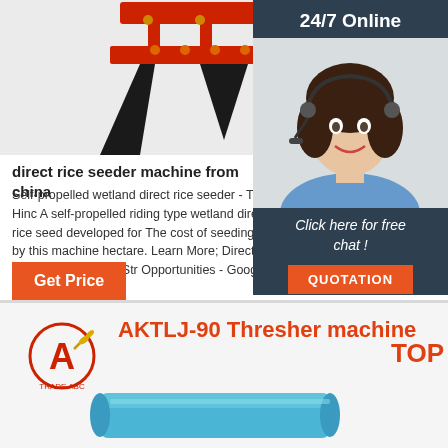[Figure (photo): Red and black self-propelled rice seeder machine viewed from front/below against white background]
[Figure (photo): 24/7 Online panel with a smiling female customer service agent wearing headset, dark blue/slate background]
direct rice seeder machine from china
Self-propelled wetland direct rice seeder - The Hind A self-propelled riding type wetland direct rice seed developed for The cost of seeding by this machine hectare. Learn More; Direct Seeding: Research Str Opportunities - Google
Get Price
Click here for free chat !
QUOTATION
[Figure (logo): AKTLJ/Trade ABC company logo - stylized letter A with gold wheat leaves]
AKTLJ-90 Thresher machine TOP
[Figure (photo): Blue cylindrical AKTLJ-90 thresher machine]